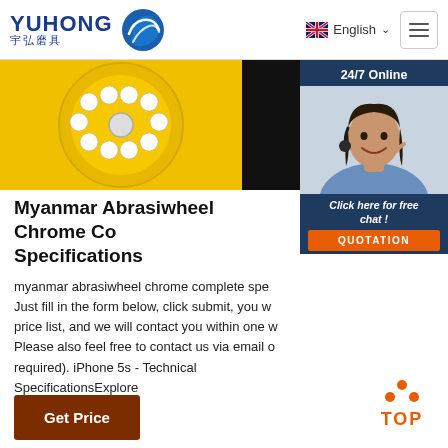YUHONG 宇弘磨具 | English
[Figure (photo): Yellow abrasive cutting wheel on left half, dark abrasive material on right half of hero banner]
[Figure (photo): 24/7 Online panel with female customer service agent wearing headset, and orange QUOTATION button with 'Click here for free chat!' text]
Myanmar Abrasiwheel Chrome Complete Specifications
myanmar abrasiwheel chrome complete specifications Just fill in the form below, click submit, you will get the price list, and we will contact you within one working day. Please also feel free to contact us via email or phone (required). iPhone 5s - Technical SpecificationsExplore further.
[Figure (other): Get Price button (dark brown/maroon)]
[Figure (other): TOP scroll-to-top button with orange dots and TOB text]